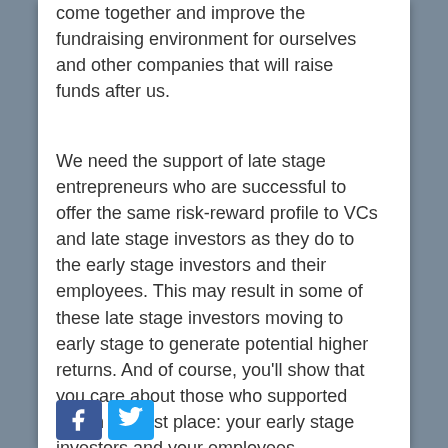come together and improve the fundraising environment for ourselves and other companies that will raise funds after us.
We need the support of late stage entrepreneurs who are successful to offer the same risk-reward profile to VCs and late stage investors as they do to the early stage investors and their employees. This may result in some of these late stage investors moving to early stage to generate potential higher returns. And of course, you'll show that you care about those who supported you in the first place: your early stage investors and your employees.
[Figure (other): Social media icons: Facebook and Twitter share buttons]